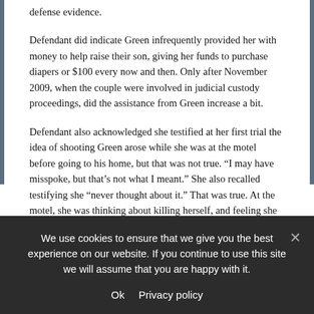defense evidence.
Defendant did indicate Green infrequently provided her with money to help raise their son, giving her funds to purchase diapers or $100 every now and then. Only after November 2009, when the couple were involved in judicial custody proceedings, did the assistance from Green increase a bit.
Defendant also acknowledged she testified at her first trial the idea of shooting Green arose while she was at the motel before going to his home, but that was not true. “I may have misspoke, but that’s not what I meant.” She also recalled testifying she “never thought about it.” That was true. At the motel, she was thinking about killing herself, and feeling she needed to talk first with Green. She was unable to explain why she felt that way. A video recording of defendant at the jail was also played for the jury.
We use cookies to ensure that we give you the best experience on our website. If you continue to use this site we will assume that you are happy with it.
Ok   Privacy policy